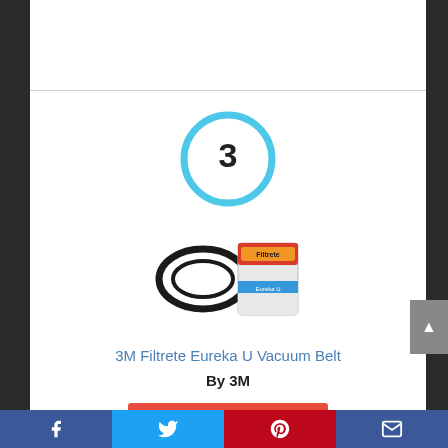[Figure (infographic): Number 3 inside a light blue circle outline, serving as a ranking indicator]
[Figure (photo): Product photo: 3M Filtrete Eureka U Vacuum Belt — black rubber belt loops and a red/blue branded packaging card]
3M Filtrete Eureka U Vacuum Belt
By 3M
View Product